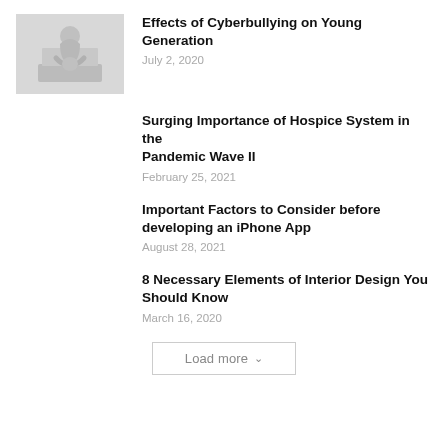[Figure (photo): Grayscale photo of a person sitting hunched over, head down, in front of a laptop]
Effects of Cyberbullying on Young Generation
July 2, 2020
Surging Importance of Hospice System in the Pandemic Wave II
February 25, 2021
Important Factors to Consider before developing an iPhone App
August 28, 2021
8 Necessary Elements of Interior Design You Should Know
March 16, 2020
Load more